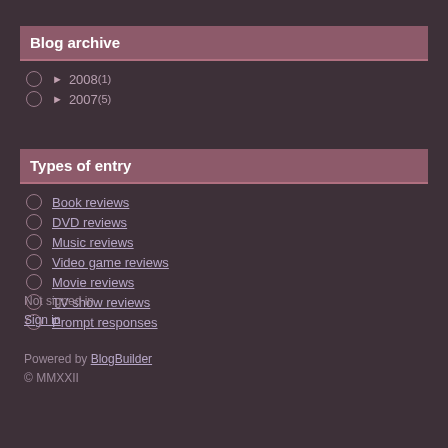Blog archive
► 2008 (1)
► 2007 (5)
Types of entry
Book reviews
DVD reviews
Music reviews
Video game reviews
Movie reviews
TV show reviews
Prompt responses
Not signed in
Sign in

Powered by BlogBuilder
© MMXXII